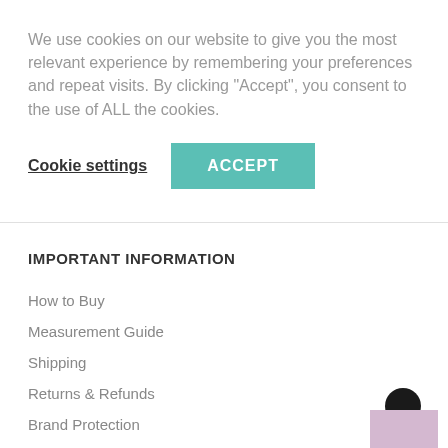We use cookies on our website to give you the most relevant experience by remembering your preferences and repeat visits. By clicking "Accept", you consent to the use of ALL the cookies.
Cookie settings
ACCEPT
IMPORTANT INFORMATION
How to Buy
Measurement Guide
Shipping
Returns & Refunds
Brand Protection
Terms & Conditions
Privacy Policy
[Figure (photo): Small product image of a perfume/fragrance bottle with dark spherical cap, light purple/mauve packaging box]